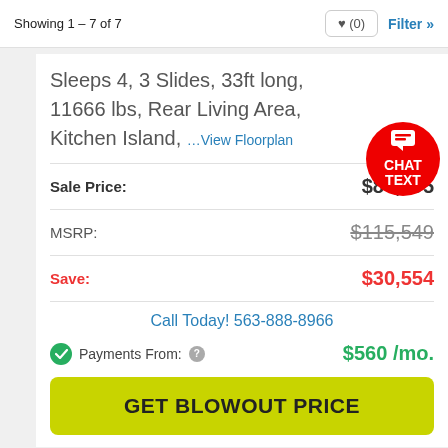Showing 1 - 7 of 7
Sleeps 4, 3 Slides, 33ft long, 11666 lbs, Rear Living Area, Kitchen Island, …View Floorplan
| Label | Value |
| --- | --- |
| Sale Price: | $84,995 |
| MSRP: | $115,549 |
| Save: | $30,554 |
Call Today! 563-888-8966
Payments From: $560 /mo.
GET BLOWOUT PRICE